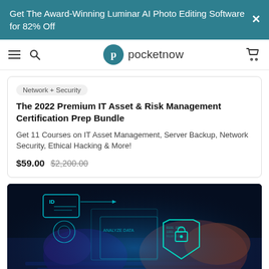Get The Award-Winning Luminar AI Photo Editing Software for 82% Off
[Figure (logo): Pocketnow logo with teal circle P icon and hamburger menu, search, and cart icons in navigation bar]
Network + Security
The 2022 Premium IT Asset & Risk Management Certification Prep Bundle
Get 11 Courses on IT Asset Management, Server Backup, Network Security, Ethical Hacking & More!
$59.00  $2,200.00
[Figure (photo): Hands typing on a keyboard with blue digital holographic security overlay showing an ID card, shield with padlock, and network data visualization graphics]